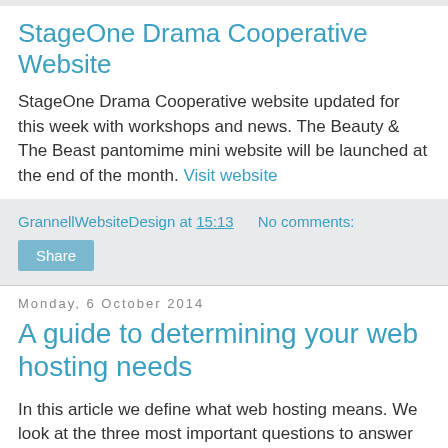StageOne Drama Cooperative Website
StageOne Drama Cooperative website updated for this week with workshops and news. The Beauty & The Beast pantomime mini website will be launched at the end of the month. Visit website
GrannellWebsiteDesign at 15:13    No comments:
Share
Monday, 6 October 2014
A guide to determining your web hosting needs
In this article we define what web hosting means. We look at the three most important questions to answer when deciding to purchase web hosting. Find out more